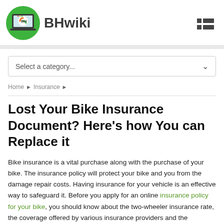[Figure (logo): BHwiki logo with green circle, laptop icon with BH letters in orange and green, and BHwiki text in dark gray]
Select a category...
Home ▶ Insurance ▶
Lost Your Bike Insurance Document? Here's how You can Replace it
Bike insurance is a vital purchase along with the purchase of your bike. The insurance policy will protect your bike and you from the damage repair costs. Having insurance for your vehicle is an effective way to safeguard it. Before you apply for an online insurance policy for your bike, you should know about the two-wheeler insurance rate, the coverage offered by various insurance providers and the suitability of the plan. Not only can you easily purchase your two-wheeler insurance